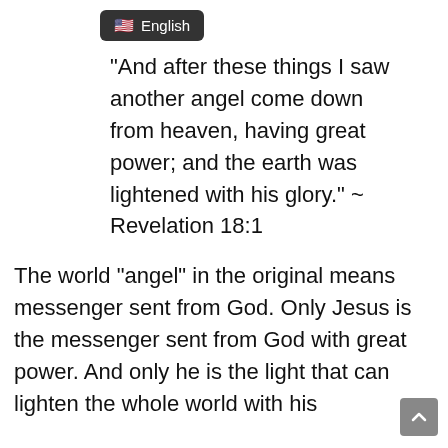English
“And after these things I saw another angel come down from heaven, having great power; and the earth was lightened with his glory.” ~ Revelation 18:1
The world “angel” in the original means messenger sent from God. Only Jesus is the messenger sent from God with great power. And only he is the light that can lighten the whole world with his